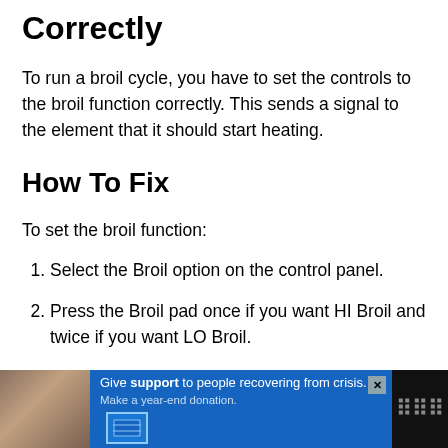Correctly
To run a broil cycle, you have to set the controls to the broil function correctly. This sends a signal to the element that it should start heating.
How To Fix
To set the broil function:
Select the Broil option on the control panel.
Press the Broil pad once if you want HI Broil and twice if you want LO Broil.
Hit the Start pad to initiate the Broil cycle.
[Figure (other): Advertisement banner at the bottom of the page showing a photo of people and text 'Give support to people recovering from crisis. Make a year-end donation.' with a close button.]